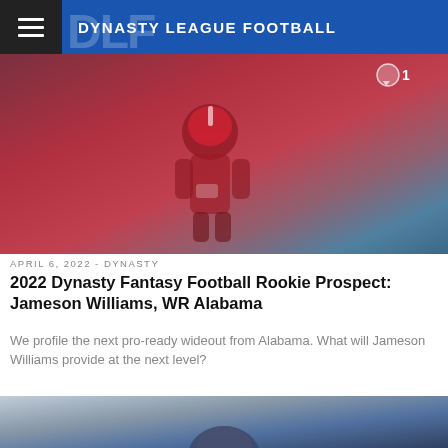DYNASTY LEAGUE FOOTBALL
[Figure (photo): Football player in red Alabama uniform and helmet running with the ball during a game]
APRIL 6, 2022 - DYNASTY
2022 Dynasty Fantasy Football Rookie Prospect: Jameson Williams, WR Alabama
We profile the next pro-ready wideout from Alabama. What will Jameson Williams provide at the next level?
[Figure (photo): Football player in dark uniform and helmet, partially visible at the bottom of the page]